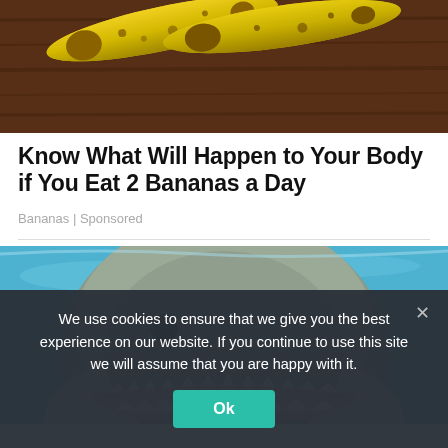[Figure (photo): Photo of ripe bananas on a dark wooden surface, viewed from above]
Know What Will Happen to Your Body if You Eat 2 Bananas a Day
Bananas | Sponsored
[Figure (photo): Close-up photo of a great white shark facing forward with open mouth showing teeth, in blue water]
We use cookies to ensure that we give you the best experience on our website. If you continue to use this site we will assume that you are happy with it.